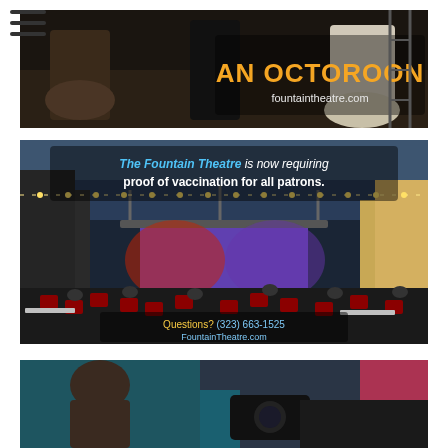[Figure (photo): Theater production photo for 'An Octoroon' at Fountain Theatre. Shows performers in period costume on stage. Orange text overlay reads 'AN OCTOROON' with 'fountaintheatre.com' below.]
[Figure (photo): Outdoor evening photo of Fountain Theatre with an illuminated stage. Text overlay reads: 'The Fountain Theatre is now requiring proof of vaccination for all patrons.' Questions? (323) 663-1525 FountainTheatre.com]
[Figure (photo): Close-up photo, partially visible at bottom of page, showing a person with a camera or device.]